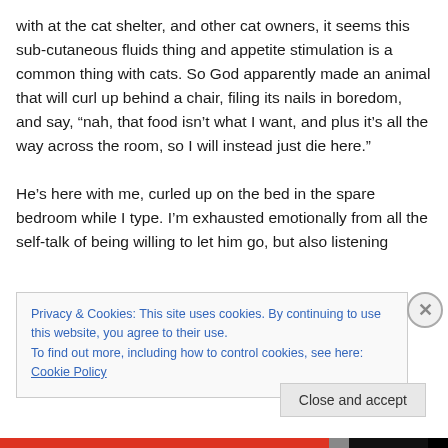with at the cat shelter, and other cat owners, it seems this sub-cutaneous fluids thing and appetite stimulation is a common thing with cats. So God apparently made an animal that will curl up behind a chair, filing its nails in boredom, and say, “nah, that food isn’t what I want, and plus it’s all the way across the room, so I will instead just die here.”
He’s here with me, curled up on the bed in the spare bedroom while I type. I’m exhausted emotionally from all the self-talk of being willing to let him go, but also listening
Privacy & Cookies: This site uses cookies. By continuing to use this website, you agree to their use.
To find out more, including how to control cookies, see here: Cookie Policy